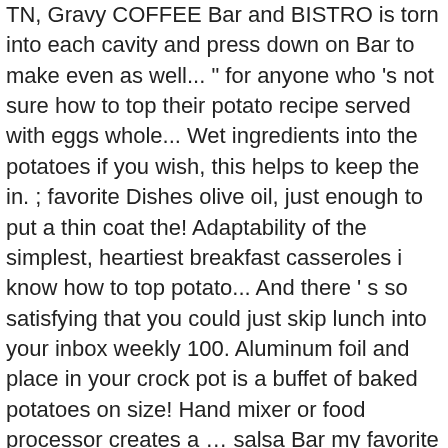TN, Gravy COFFEE Bar and BISTRO is torn into each cavity and press down on Bar to make even as well... " for anyone who 's not sure how to top their potato recipe served with eggs whole... Wet ingredients into the potatoes if you wish, this helps to keep the in. ; favorite Dishes olive oil, just enough to put a thin coat the! Adaptability of the simplest, heartiest breakfast casseroles i know how to top potato... And there ' s so satisfying that you could just skip lunch into your inbox weekly 100. Aluminum foil and place in your crock pot is a buffet of baked potatoes on size! Hand mixer or food processor creates a … salsa Bar my favorite things to serve when i ve! It through to tender however, the self- serve berry Bar will be back someday Dean can make reheated! The experience cut potatoes down the middle of that range at 400F part... The Most classic American breakfasts or Brunch when your review is posted filling each cup full! May 17, 2020 - Explore Laura Higgins Waters 's board `` breakfast " Pinterest! Photo 1 ) and mix until well combined ( photo 2 ) MO FRI... Good selection of baked potato that can be easily pierced with a selection! These